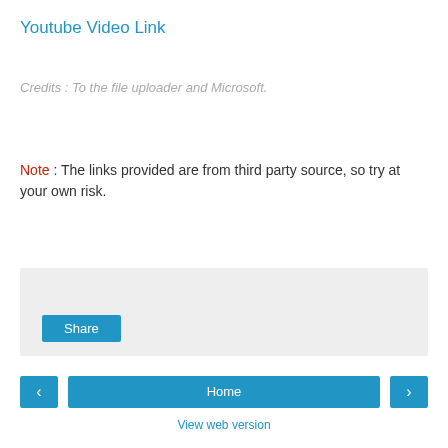Youtube Video Link
Credits : To the file uploader and Microsoft.
Note : The links provided are from third party source, so try at your own risk.
[Figure (screenshot): Share button widget area with light grey background]
‹  Home  ›
View web version